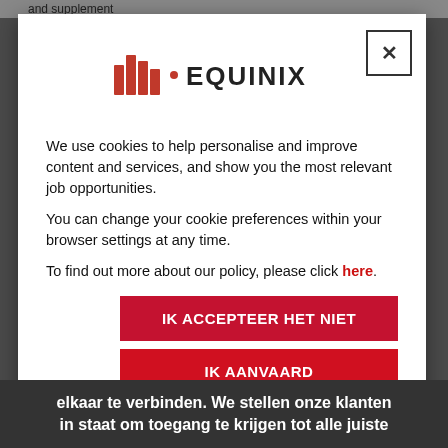and supplement
[Figure (logo): Equinix logo with stylized bar chart icon followed by dot and EQUINIX text in dark color]
We use cookies to help personalise and improve content and services, and show you the most relevant job opportunities.

You can change your cookie preferences within your browser settings at any time.

To find out more about our policy, please click here.
IK ACCEPTEER HET NIET
IK AANVAARD
elkaar te verbinden. We stellen onze klanten in staat om toegang te krijgen tot alle juiste